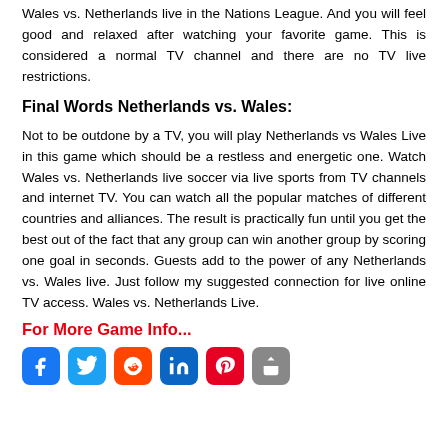Wales vs. Netherlands live in the Nations League. And you will feel good and relaxed after watching your favorite game. This is considered a normal TV channel and there are no TV live restrictions.
Final Words Netherlands vs. Wales:
Not to be outdone by a TV, you will play Netherlands vs Wales Live in this game which should be a restless and energetic one. Watch Wales vs. Netherlands live soccer via live sports from TV channels and internet TV. You can watch all the popular matches of different countries and alliances. The result is practically fun until you get the best out of the fact that any group can win another group by scoring one goal in seconds. Guests add to the power of any Netherlands vs. Wales live. Just follow my suggested connection for live online TV access. Wales vs. Netherlands Live.
For More Game Info...
[Figure (other): Social media sharing icons: Facebook, Twitter, Reddit, LinkedIn, Pinterest, Share]